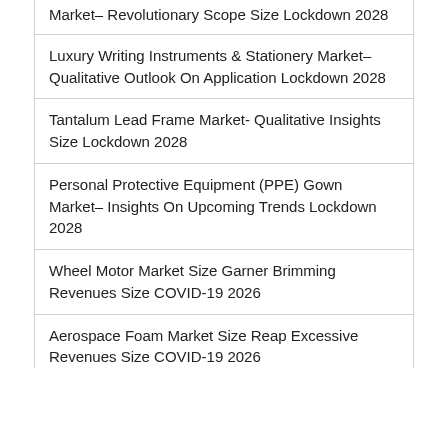Market– Revolutionary Scope Size Lockdown 2028
Luxury Writing Instruments & Stationery Market– Qualitative Outlook On Application Lockdown 2028
Tantalum Lead Frame Market- Qualitative Insights Size Lockdown 2028
Personal Protective Equipment (PPE) Gown Market– Insights On Upcoming Trends Lockdown 2028
Wheel Motor Market Size Garner Brimming Revenues Size COVID-19 2026
Aerospace Foam Market Size Reap Excessive Revenues Size COVID-19 2026